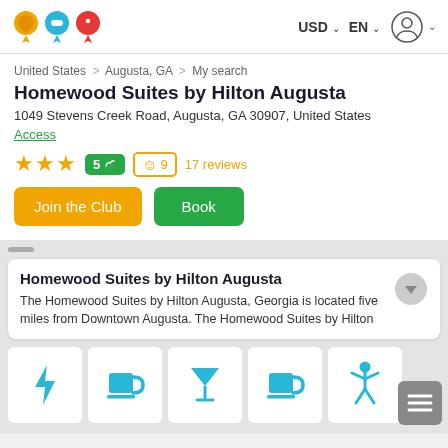[Figure (logo): Three map pin location icons in orange, blue, and red — travel website logo]
USD ∨  EN ∨
United States > Augusta, GA > My search
Homewood Suites by Hilton Augusta
1049 Stevens Creek Road, Augusta, GA 30907, United States
Access
★★★  5🍃  ☺9  17 reviews
Join the Club
Book
Homewood Suites by Hilton Augusta
The Homewood Suites by Hilton Augusta, Georgia is located five miles from Downtown Augusta. The Homewood Suites by Hilton
[Figure (infographic): Row of 5 amenity icons: lightning bolt (electricity/EV), coffee cup, cocktail glass, coffee cup, person with arms raised (activity)]